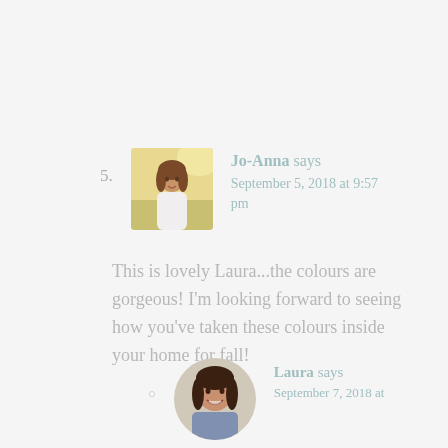5. Jo-Anna says September 5, 2018 at 9:57 pm
[Figure (photo): Avatar photo of Jo-Anna, a woman in a white top standing in a sunny field]
This is lovely Laura...the colours are gorgeous! I'm looking forward to seeing how you've taken these colours inside your home for fall!
○ Laura says September 7, 2018 at
[Figure (photo): Avatar photo of Laura, a woman smiling with dark hair]